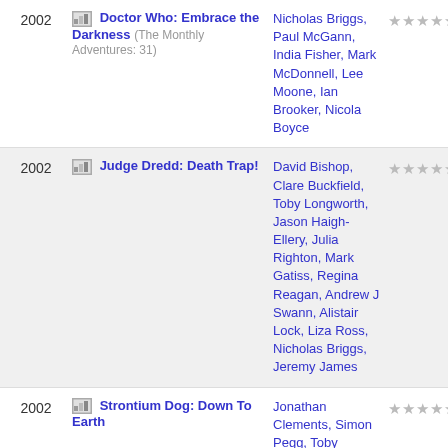2002 | Doctor Who: Embrace the Darkness (The Monthly Adventures: 31) | Nicholas Briggs, Paul McGann, India Fisher, Mark McDonnell, Lee Moone, Ian Brooker, Nicola Boyce | ★★★★★
2002 | Judge Dredd: Death Trap! | David Bishop, Clare Buckfield, Toby Longworth, Jason Haigh-Ellery, Julia Righton, Mark Gatiss, Regina Reagan, Andrew J Swann, Alistair Lock, Liza Ross, Nicholas Briggs, Jeremy James | ★★★★★
2002 | Strontium Dog: Down To Earth | Jonathan Clements, Simon Pegg, Toby Longworth, Patricia Merrick, Francis Clarke, Jacqueline Pearce, Nicholas Briggs, John Wadmore, Mark Donovan, Alistair Lock, Mark McDonnell | ★★★★★
2002 | Doctor Who: Spare Parts (The... | Marc Platt starring Peter Davison, Sarah Sutton featuring Sally...